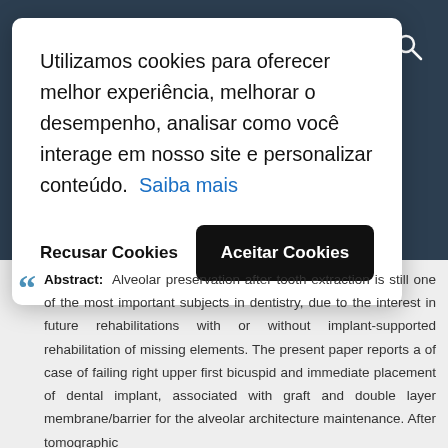Utilizamos cookies para oferecer melhor experiência, melhorar o desempenho, analisar como você interage em nosso site e personalizar conteúdo. Saiba mais
Recusar Cookies | Aceitar Cookies
Abstract: Alveolar preservation after tooth extraction is still one of the most important subjects in dentistry, due to the interest in future rehabilitations with or without implant-supported rehabilitation of missing elements. The present paper reports a of case of failing right upper first bicuspid and immediate placement of dental implant, associated with graft and double layer membrane/barrier for the alveolar architecture maintenance. After tomographic